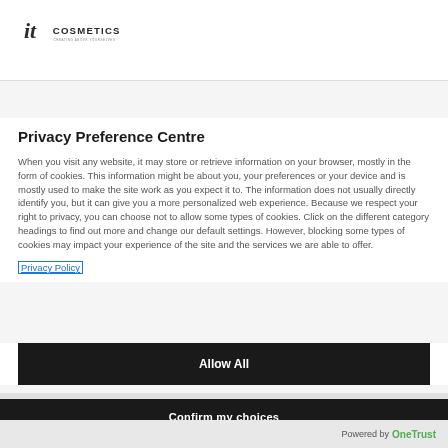[Figure (logo): IT Cosmetics logo with cursive 'it' and sans-serif 'COSMETICS' text and tagline]
Privacy Preference Centre
When you visit any website, it may store or retrieve information on your browser, mostly in the form of cookies. This information might be about you, your preferences or your device and is mostly used to make the site work as you expect it to. The information does not usually directly identify you, but it can give you a more personalized web experience. Because we respect your right to privacy, you can choose not to allow some types of cookies. Click on the different category headings to find out more and change our default settings. However, blocking some types of cookies may impact your experience of the site and the services we are able to offer.
Privacy Policy
Allow All
Confirm my choices
Powered by OneTrust